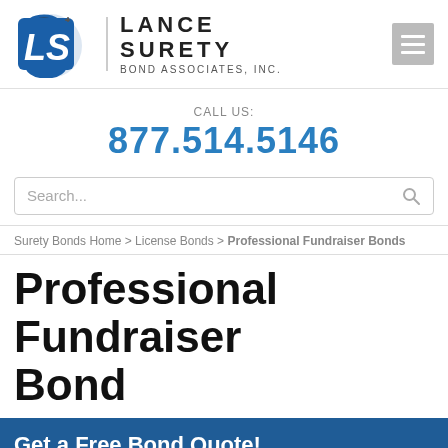[Figure (logo): Lance Surety Bond Associates, Inc. logo with stylized LS icon in blue and grey, company name in bold uppercase letters]
CALL US:
877.514.5146
Search...
Surety Bonds Home > License Bonds > Professional Fundraiser Bonds
Professional Fundraiser Bond
Get a Free Bond Quote!
Apply Online > Get a Free Quote > Buy Your Bond